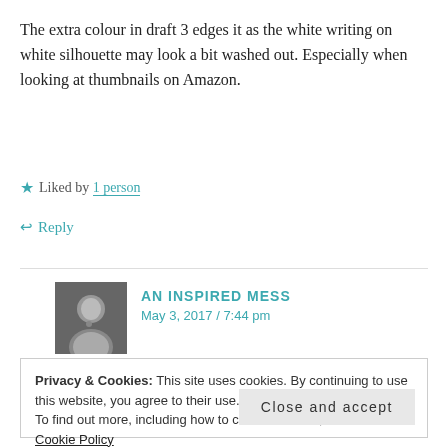The extra colour in draft 3 edges it as the white writing on white silhouette may look a bit washed out. Especially when looking at thumbnails on Amazon.
★ Liked by 1 person
↩ Reply
AN INSPIRED MESS
May 3, 2017 / 7:44 pm
That's brilliant, thanks for your thoughts! I've been
Privacy & Cookies: This site uses cookies. By continuing to use this website, you agree to their use.
To find out more, including how to control cookies, see here: Cookie Policy
Close and accept
Like